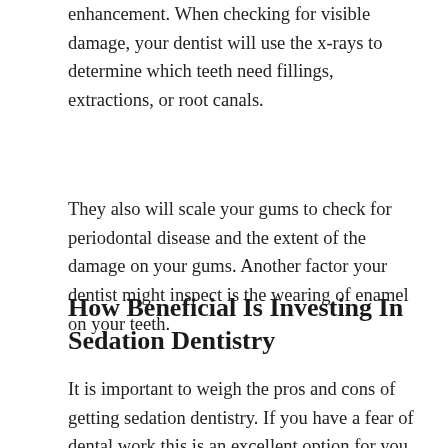enhancement. When checking for visible damage, your dentist will use the x-rays to determine which teeth need fillings, extractions, or root canals.
They also will scale your gums to check for periodontal disease and the extent of the damage on your gums. Another factor your dentist might inspect is the wearing of enamel on your teeth.
How Beneficial Is Investing In Sedation Dentistry
It is important to weigh the pros and cons of getting sedation dentistry. If you have a fear of dental work this is an excellent option for you as it helps you to relax. The